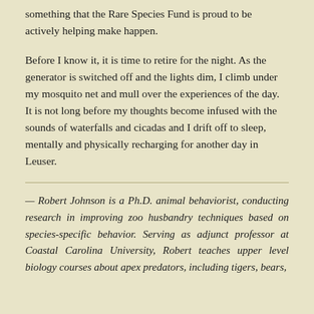something that the Rare Species Fund is proud to be actively helping make happen.
Before I know it, it is time to retire for the night. As the generator is switched off and the lights dim, I climb under my mosquito net and mull over the experiences of the day. It is not long before my thoughts become infused with the sounds of waterfalls and cicadas and I drift off to sleep, mentally and physically recharging for another day in Leuser.
— Robert Johnson is a Ph.D. animal behaviorist, conducting research in improving zoo husbandry techniques based on species-specific behavior. Serving as adjunct professor at Coastal Carolina University, Robert teaches upper level biology courses about apex predators, including tigers, bears,